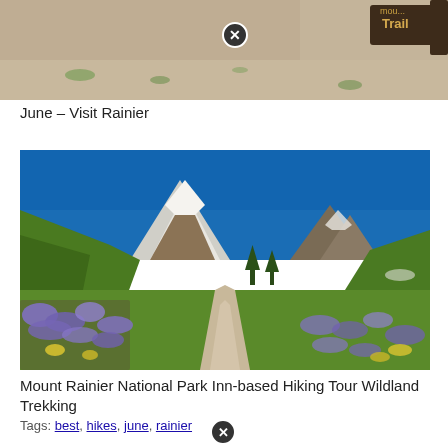[Figure (photo): Partial view of a trail sign reading 'Trail', cropped at top of page with brown dirt and sparse green vegetation visible]
June – Visit Rainier
[Figure (photo): Scenic photo of a paved trail through wildflower meadows with purple lupine and yellow flowers on both sides, leading toward snow-capped Mount Rainier under a vivid blue sky]
Mount Rainier National Park Inn-based Hiking Tour Wildland Trekking
Tags: best, hikes, june, rainier